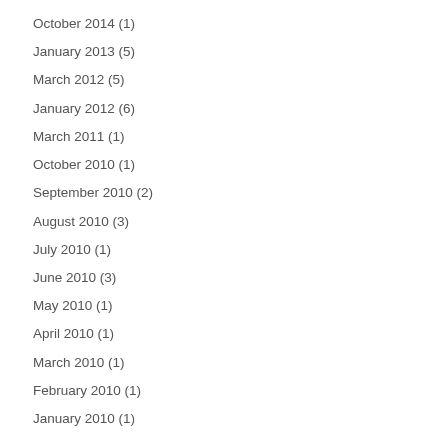October 2014 (1)
January 2013 (5)
March 2012 (5)
January 2012 (6)
March 2011 (1)
October 2010 (1)
September 2010 (2)
August 2010 (3)
July 2010 (1)
June 2010 (3)
May 2010 (1)
April 2010 (1)
March 2010 (1)
February 2010 (1)
January 2010 (1)